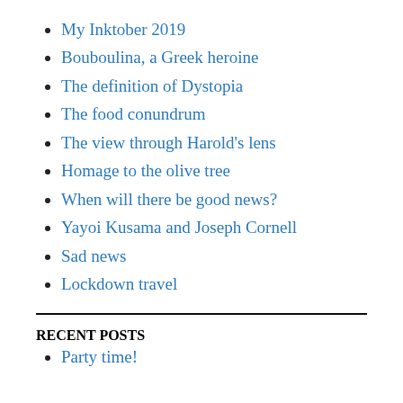My Inktober 2019
Bouboulina, a Greek heroine
The definition of Dystopia
The food conundrum
The view through Harold's lens
Homage to the olive tree
When will there be good news?
Yayoi Kusama and Joseph Cornell
Sad news
Lockdown travel
RECENT POSTS
Party time!